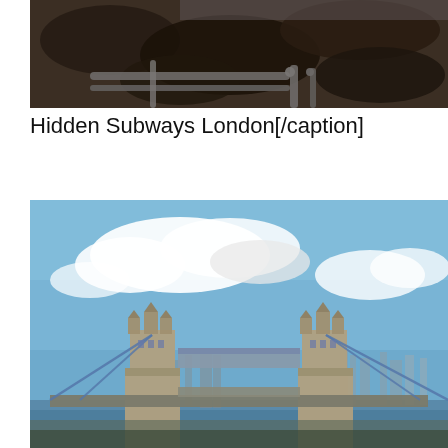[Figure (photo): Overhead view of an underground excavation site showing pipes, conduits, and dark soil/debris, likely a subway or utility tunnel construction site in London]
Hidden Subways London[/caption]
[Figure (photo): Photograph of Tower Bridge in London on a partly cloudy day with blue sky, showing both towers and the walkway spanning the River Thames, with London city skyline visible in the background]